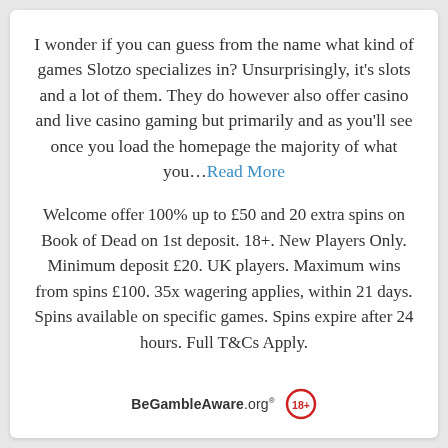I wonder if you can guess from the name what kind of games Slotzo specializes in? Unsurprisingly, it's slots and a lot of them. They do however also offer casino and live casino gaming but primarily and as you'll see once you load the homepage the majority of what you…Read More
Welcome offer 100% up to £50 and 20 extra spins on Book of Dead on 1st deposit. 18+. New Players Only. Minimum deposit £20. UK players. Maximum wins from spins £100. 35x wagering applies, within 21 days. Spins available on specific games. Spins expire after 24 hours. Full T&Cs Apply.
[Figure (logo): BeGambleAware.org logo with 18+ age restriction icon in red circle]